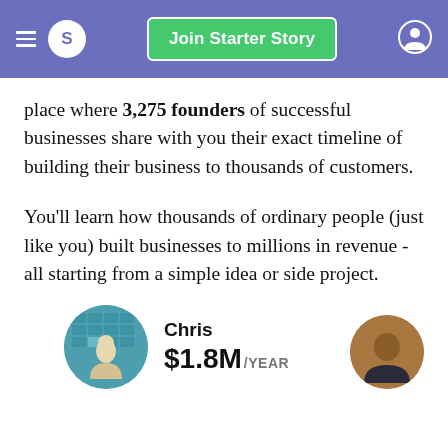Join Starter Story
place where 3,275 founders of successful businesses share with you their exact timeline of building their business to thousands of customers.
You'll learn how thousands of ordinary people (just like you) built businesses to millions in revenue - all starting from a simple idea or side project.
Chris $1.8M/YEAR